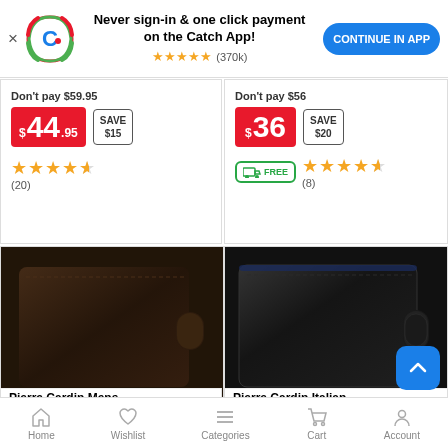[Figure (screenshot): Catch app promotional banner with logo, text 'Never sign-in & one click payment on the Catch App!', star rating (370k reviews), and 'CONTINUE IN APP' button]
Don't pay $59.95
$44.95 SAVE $15
★★★★½ (20)
Don't pay $56
$36 SAVE $20
FREE delivery ★★★★½ (8)
[Figure (photo): Dark brown leather bifold wallet with clasp - Pierre Cardin Mens]
[Figure (photo): Black leather bifold wallet with clasp - Pierre Cardin Italian]
Pierre Cardin Mens
Pierre Cardin Italian
Home  Wishlist  Categories  Cart  Account